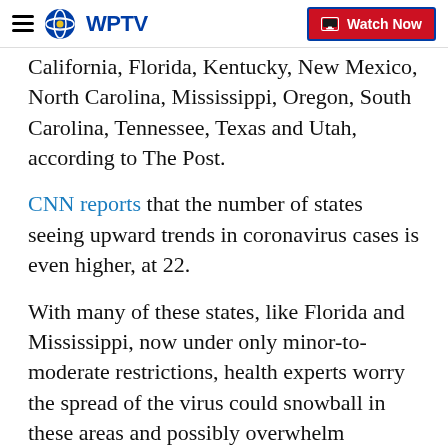WPTV — Watch Now
California, Florida, Kentucky, New Mexico, North Carolina, Mississippi, Oregon, South Carolina, Tennessee, Texas and Utah, according to The Post.
CNN reports that the number of states seeing upward trends in coronavirus cases is even higher, at 22.
With many of these states, like Florida and Mississippi, now under only minor-to-moderate restrictions, health experts worry the spread of the virus could snowball in these areas and possibly overwhelm hospitals.
The first wave of the pandemic moved through major metropolitan areas, like New York City and Los Angeles, but those cities are now moving towards